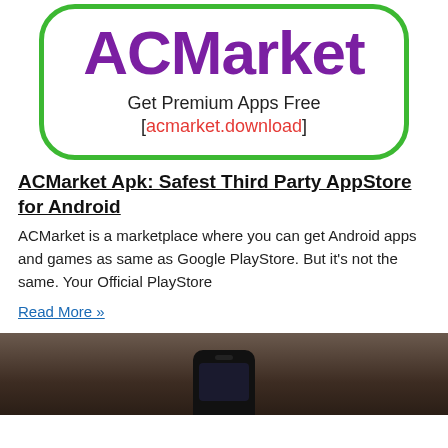[Figure (logo): ACMarket logo inside a rounded rectangle with green border. Purple bold 'ACMarket' text, subtitle 'Get Premium Apps Free', URL '[acmarket.download]' in red.]
ACMarket Apk: Safest Third Party AppStore for Android
ACMarket is a marketplace where you can get Android apps and games as same as Google PlayStore. But it's not the same. Your Official PlayStore
Read More »
[Figure (photo): Dark photo showing a smartphone on a wooden surface, partially visible at bottom of page.]